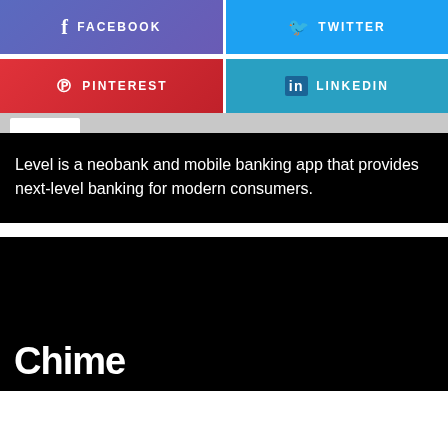[Figure (infographic): Social sharing buttons row 1: Facebook (purple/blue gradient) and Twitter (sky blue) side by side]
[Figure (infographic): Social sharing buttons row 2: Pinterest (red gradient) and LinkedIn (teal/blue) side by side]
Level is a neobank and mobile banking app that provides next-level banking for modern consumers.
[Figure (photo): Black background section with Chime logo text partially visible at the bottom]
Chime